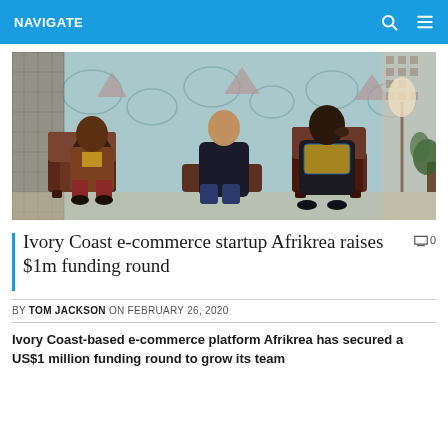NAVIGATE
[Figure (photo): Three men seated in chairs against a decorative wall with African-inspired patterns. The man on the left wears a brown jacket and dark pants, the man in the center wears a dark outfit and jeans, and the man on the right wears a colorful African print shirt and black jacket. A floor lamp and plant are visible in the background.]
Ivory Coast e-commerce startup Afrikrea raises $1m funding round
BY TOM JACKSON ON FEBRUARY 26, 2020
Ivory Coast-based e-commerce platform Afrikrea has secured a US$1 million funding round to grow its team